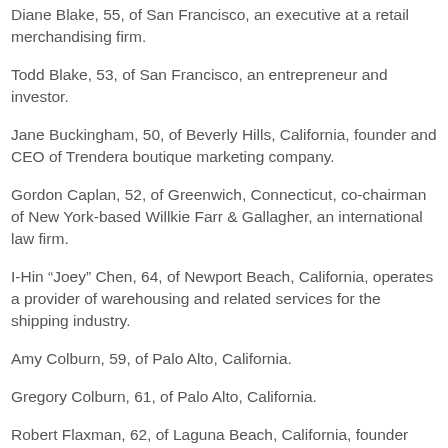Diane Blake, 55, of San Francisco, an executive at a retail merchandising firm.
Todd Blake, 53, of San Francisco, an entrepreneur and investor.
Jane Buckingham, 50, of Beverly Hills, California, founder and CEO of Trendera boutique marketing company.
Gordon Caplan, 52, of Greenwich, Connecticut, co-chairman of New York-based Willkie Farr & Gallagher, an international law firm.
I-Hin “Joey” Chen, 64, of Newport Beach, California, operates a provider of warehousing and related services for the shipping industry.
Amy Colburn, 59, of Palo Alto, California.
Gregory Colburn, 61, of Palo Alto, California.
Robert Flaxman, 62, of Laguna Beach, California, founder and CEO of real estate development firm Crown Realty &